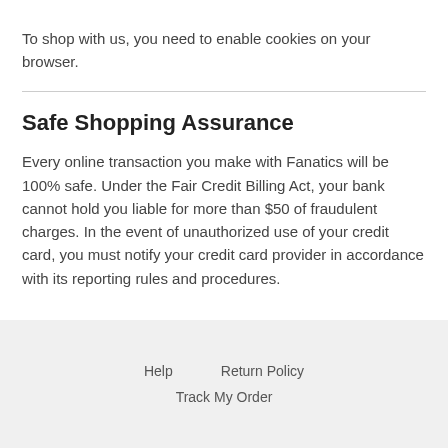To shop with us, you need to enable cookies on your browser.
Safe Shopping Assurance
Every online transaction you make with Fanatics will be 100% safe. Under the Fair Credit Billing Act, your bank cannot hold you liable for more than $50 of fraudulent charges. In the event of unauthorized use of your credit card, you must notify your credit card provider in accordance with its reporting rules and procedures.
Help   Return Policy   Track My Order